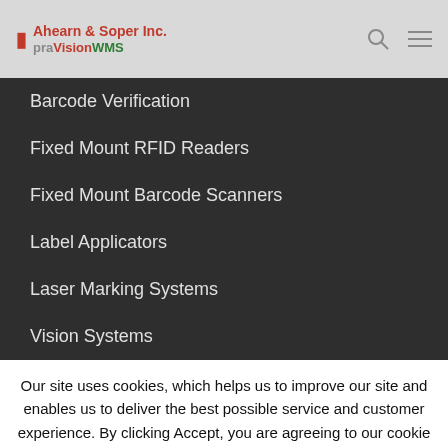Ahearn & Soper Inc. praVisionWMS
Barcode Verification
Fixed Mount RFID Readers
Fixed Mount Barcode Scanners
Label Applicators
Laser Marking Systems
Vision Systems
Our site uses cookies, which helps us to improve our site and enables us to deliver the best possible service and customer experience. By clicking Accept, you are agreeing to our cookie policy.To find out more about the cookies we use, see our
Policy.
Cookie settings
ACCEPT